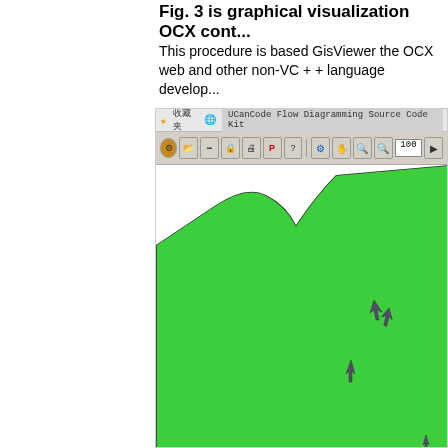Fig. 3 is graphical visualization OCX cont...
This procedure is based GisViewer the OCX web and other non-VC++ language develop...
[Figure (screenshot): Screenshot of a GIS viewer application showing a browser toolbar with 'UCanCode Flow Diagramming Source Code Kit' tab, application toolbar with various tool buttons and zoom controls set to 100, and a map view showing a large green landmass on white background with small dark arrow/cursor symbols scattered on the green area.]